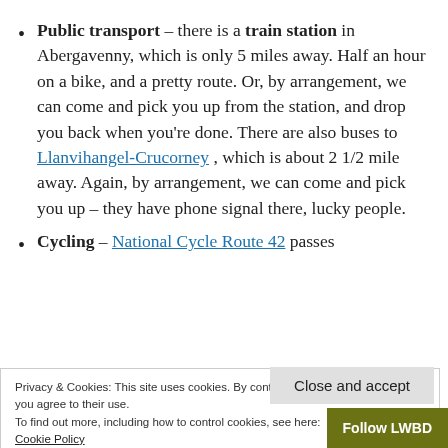Public transport – there is a train station in Abergavenny, which is only 5 miles away. Half an hour on a bike, and a pretty route. Or, by arrangement, we can come and pick you up from the station, and drop you back when you're done. There are also buses to Llanvihangel-Crucorney , which is about 2 1/2 mile away. Again, by arrangement, we can come and pick you up – they have phone signal there, lucky people.
Cycling – National Cycle Route 42 passes
Privacy & Cookies: This site uses cookies. By continuing to use this website, you agree to their use.
To find out more, including how to control cookies, see here:
Cookie Policy
Walking – we're about 100m from th